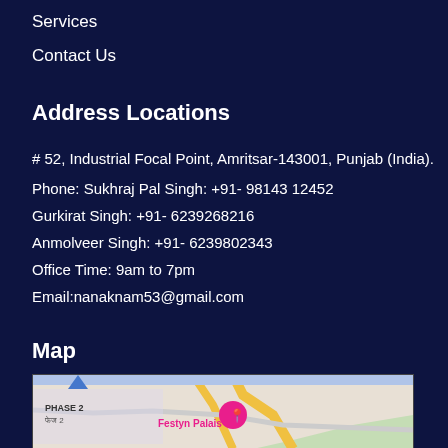Services
Contact Us
Address Locations
# 52, Industrial Focal Point, Amritsar-143001, Punjab (India).
Phone: Sukhraj Pal Singh: +91- 98143 12452
Gurkirat Singh: +91- 6239268216
Anmolveer Singh: +91- 6239802343
Office Time: 9am to 7pm
Email:nanaknam53@gmail.com
Map
[Figure (map): Google Maps showing location near Festyn Palais, Phase 2 area, with a map pin marker]